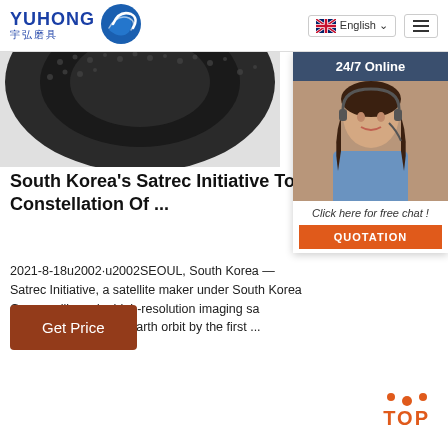YUHONG 宇弘磨具 | English | Menu
[Figure (photo): Dark textured abrasive grinding wheel/disc, partially visible from top-left]
[Figure (photo): 24/7 Online chat widget with photo of woman wearing headset, Click here for free chat, QUOTATION button]
South Korea's Satrec Initiative To Constellation Of ...
2021-8-18u2002·u2002SEOUL, South Korea — Satrec Initiative, a satellite maker under South Korea Group, will send a high-resolution imaging sa SpaceEye-T into low Earth orbit by the first ...
[Figure (other): Get Price button - brown/rust colored button]
[Figure (other): TOP button with orange dots and text]